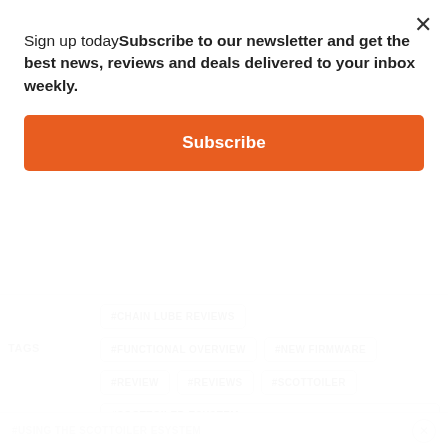Sign up todaySubscribe to our newsletter and get the best news, reviews and deals delivered to your inbox weekly.
Subscribe
#CHAIN LUBE REVIEWS
#FUNCTIONAL OVERVIEW
#NEW FIRMWARE
#REVIEW
#REVIEWS
#SCOTTOILER
#SCOTTOILER ESYSTEM
#SCOTTOILER ESYSTEM CHAIN OILER
#SCOTTOILER ESYSTEM MOTORCYCLE CHAIN OILER
#USING THE SCOTTOILER ESYSTEM